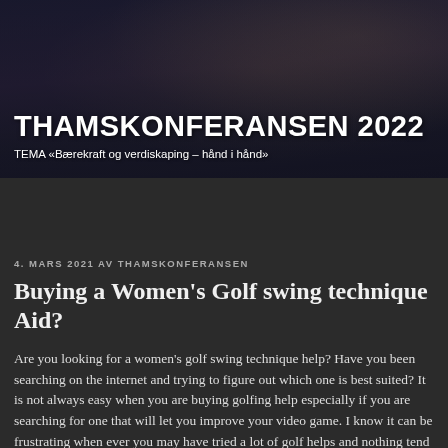THAMSKONFERANSEN 2022
TEMA «Bærekraft og verdiskaping – hånd i hånd»
≡ Meny
4. MARS 2021 AV THAMSKONFERANSEN
Buying a Women's Golf swing technique Aid?
Are you looking for a women's golf swing technique help? Have you been searching on the internet and trying to figure out which one is best suited? It is not always easy when you are buying golfing help especially if you are searching for one that will let you improve your video game. I know it can be frustrating when ever you may have tried a lot of golf helps and nothing tend to work.